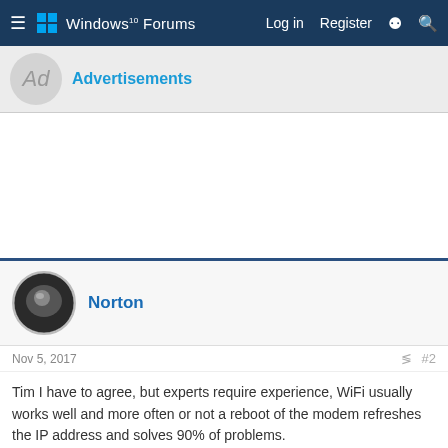Windows 10 Forums — Log in  Register
Advertisements
[Figure (other): Advertisement banner area (white blank space)]
Norton
Nov 5, 2017  #2
Tim I have to agree, but experts require experience, WiFi usually works well and more often or not a reboot of the modem refreshes the IP address and solves 90% of problems.